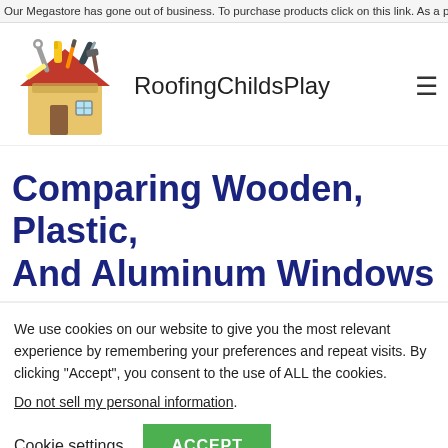Our Megastore has gone out of business. To purchase products click on this link. As a partic
[Figure (logo): RoofingChildsPlay logo: a cartoon toolbox house with tools including wrench, hammer, drill, and ruler sticking out of it]
RoofingChildsPlay
Comparing Wooden, Plastic, And Aluminum Windows
We use cookies on our website to give you the most relevant experience by remembering your preferences and repeat visits. By clicking "Accept", you consent to the use of ALL the cookies.
Do not sell my personal information.
Cookie settings  ACCEPT